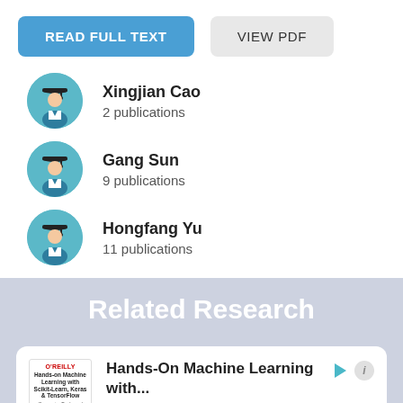READ FULL TEXT
VIEW PDF
Xingjian Cao
2 publications
Gang Sun
9 publications
Hongfang Yu
11 publications
Related Research
Hands-On Machine Learning with...